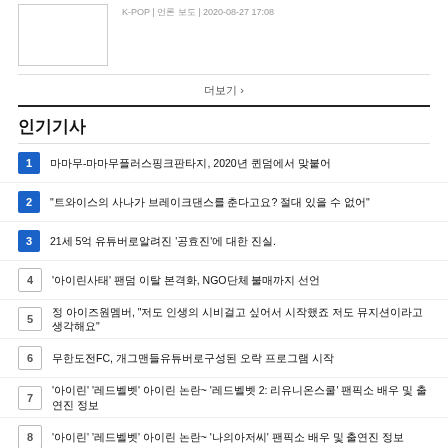K-POP | 언론 보도 | 2020-08-27 17:08
더보기 >
인기기사
1. 마마무-마마무플러스핑크판타지, 2020년 퀸덤에서 맞붙어
2. "트와이스의 사나가 브레이크댄스를 춘다고요? 절대 있을 수 없어"
3. 21세 5억 유튜버로알려진 '공효진'에 대한 진실.
4. '아이린사태' 팬덤 이탈 본격화, NGO단체 불매까지 선언
5. 정 아이즈원멤버, "저도 인생의 시비걸고 싶어서 시작했죠 저도 뮤지션이라고 생각해요"
6. 무한도전FC, 개그맨들유튜버로구성된 오락 프로그램 시작
7. '아이린' '레드벨벳' 아이린 논란~ '레드벨벳 2: 리유니온스쿨' 팬픽소 배우 및 출연진 정보
8. '아이린' '레드벨벳' 아이린 논란~ '나의아저씨' 팬픽소 배우 및 출연진 정보